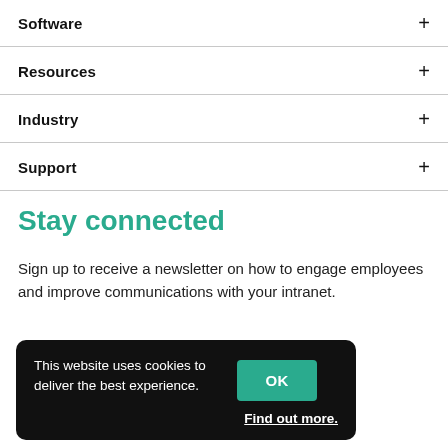Software +
Resources +
Industry +
Support +
Stay connected
Sign up to receive a newsletter on how to engage employees and improve communications with your intranet.
This website uses cookies to deliver the best experience. OK Find out more.